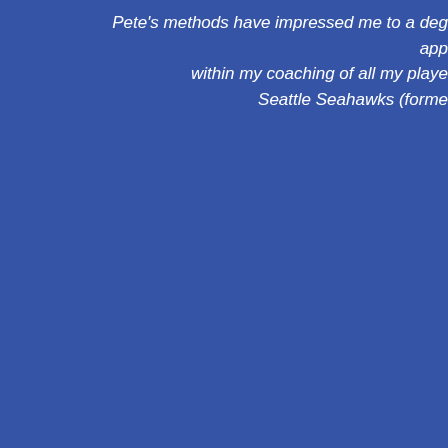Pete's methods have impressed me to a deg app within my coaching of all my playe Seattle Seahawks (forme